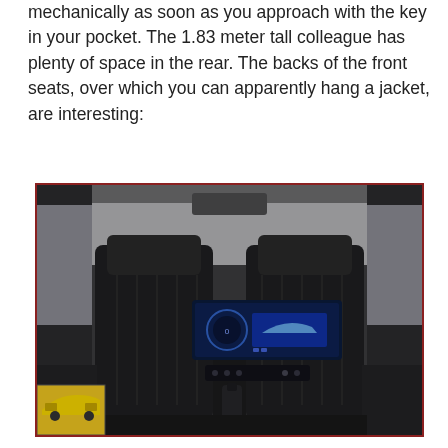mechanically as soon as you approach with the key in your pocket. The 1.83 meter tall colleague has plenty of space in the rear. The backs of the front seats, over which you can apparently hang a jacket, are interesting:
[Figure (photo): View from rear passenger perspective inside a car, showing the backs of two front seats with a central infotainment screen displaying a blue interface, dashboard controls visible between the seats, and a small thumbnail image of a yellow sports car in the bottom-left corner of the main image.]